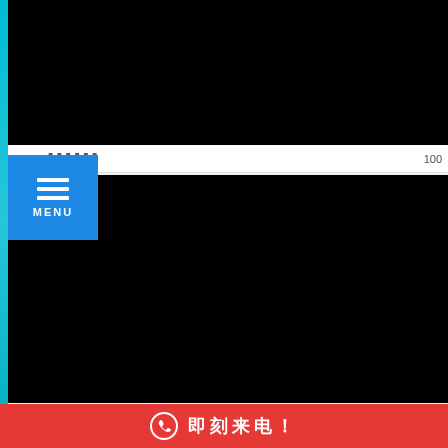[Figure (screenshot): Black video player area at top of page]
100
[Figure (screenshot): Blue MENU button with three horizontal lines and MENU text]
[Figure (screenshot): Second black video player area in the middle-bottom section]
即刻来电！